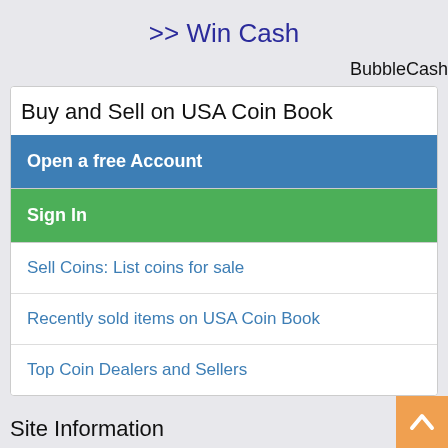>> Win Cash
BubbleCash
Buy and Sell on USA Coin Book
Open a free Account
Sign In
Sell Coins: List coins for sale
Recently sold items on USA Coin Book
Top Coin Dealers and Sellers
Site Information
Coin Encyclopedia